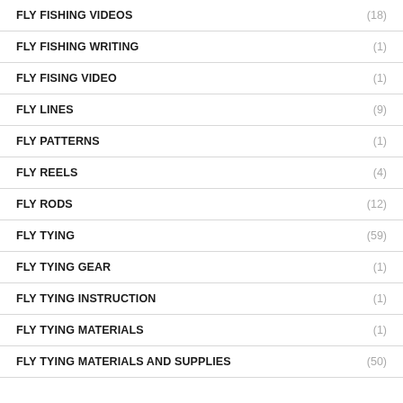FLY FISHING VIDEOS (18)
FLY FISHING WRITING (1)
FLY FISING VIDEO (1)
FLY LINES (9)
FLY PATTERNS (1)
FLY REELS (4)
FLY RODS (12)
FLY TYING (59)
FLY TYING GEAR (1)
FLY TYING INSTRUCTION (1)
FLY TYING MATERIALS (1)
FLY TYING MATERIALS AND SUPPLIES (50)